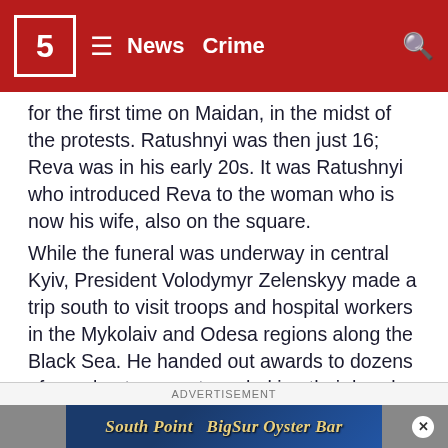5 | News | Crime
for the first time on Maidan, in the midst of the protests. Ratushnyi was then just 16; Reva was in his early 20s. It was Ratushnyi who introduced Reva to the woman who is now his wife, also on the square.
While the funeral was underway in central Kyiv, President Volodymyr Zelenskyy made a trip south to visit troops and hospital workers in the Mykolaiv and Odesa regions along the Black Sea. He handed out awards to dozens of people at every stop, shaking their hands and thanking them again and again for their service.
ADVERTISEMENT
[Figure (other): Advertisement banner for South Point Big Sur Oyster Bar]